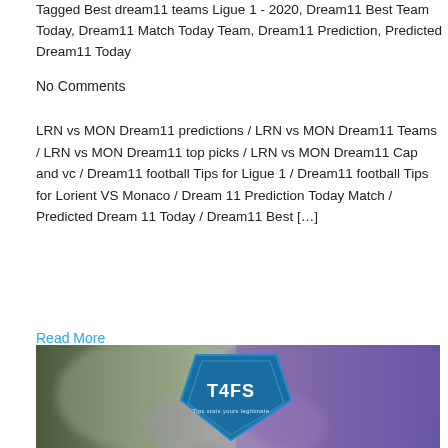Tagged Best dream11 teams Ligue 1 - 2020, Dream11 Best Team Today, Dream11 Match Today Team, Dream11 Prediction, Predicted Dream11 Today
No Comments
LRN vs MON Dream11 predictions / LRN vs MON Dream11 Teams / LRN vs MON Dream11 top picks / LRN vs MON Dream11 Cap and vc / Dream11 football Tips for Ligue 1 / Dream11 football Tips for Lorient VS Monaco / Dream 11 Prediction Today Match / Predicted Dream 11 Today / Dream11 Best [...]
Read More
[Figure (photo): A blurred sports stadium background image with a blue shield logo containing the text T4FS and a tagline below it partially visible.]